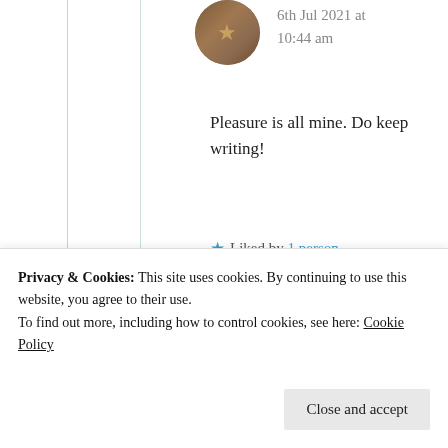6th Jul 2021 at 10:44 am
Pleasure is all mine. Do keep writing!
Liked by 1 person
Suma Reddy
6th Jul 2021 at 7:34
Privacy & Cookies: This site uses cookies. By continuing to use this website, you agree to their use.
To find out more, including how to control cookies, see here: Cookie Policy
Close and accept
motivation 🍺🏆